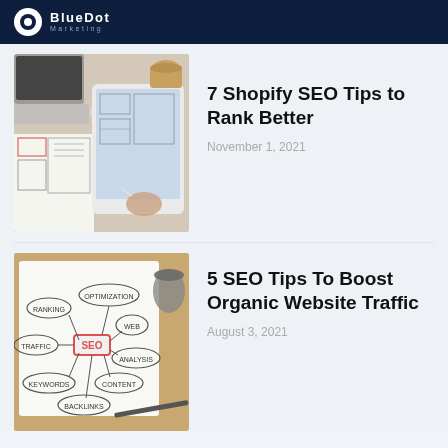BlueDot Marketing
[Figure (photo): Person holding a tablet with a stylus, drawing wireframes, surrounded by printed wireframe sketches and a laptop on a desk.]
7 Shopify SEO Tips to Rank Better
November 1, 2021
[Figure (photo): Hand-drawn SEO mind map on paper showing SEO in center connected to: Optimization, Ranking, Traffic, Web, Analysis, Content, Keywords, Backlinks. A coffee cup and pen are visible on a wooden desk.]
5 SEO Tips To Boost Organic Website Traffic
August 3, 2021